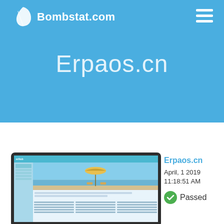Bombstat.com
Erpaos.cn
[Figure (screenshot): Screenshot of Erpaos.cn website displayed in a laptop/tablet frame mockup showing a beach scene with umbrella and content rows]
Erpaos.cn
April, 1 2019 11:18:51 AM
Passed